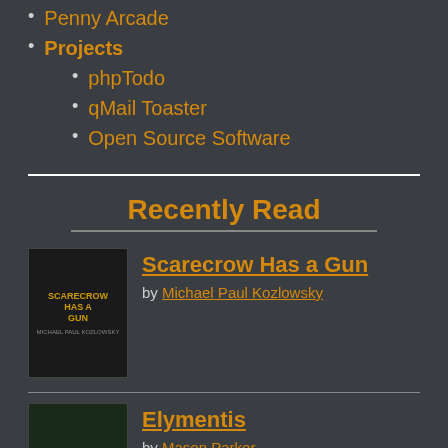Penny Arcade
Projects
phpTodo
qMail Toaster
Open Source Software
Recently Read
Scarecrow Has a Gun by Michael Paul Kozlowsky
Elymentis by Mason Parker